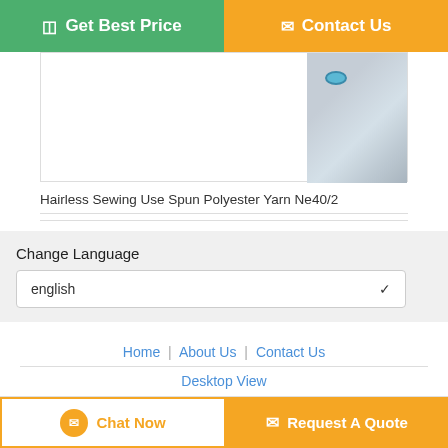[Figure (screenshot): Green 'Get Best Price' button with chat icon on the left, orange 'Contact Us' button with envelope icon on the right]
[Figure (photo): Product thumbnail image showing a soft toy or fabric item with blue eye detail]
Hairless Sewing Use Spun Polyester Yarn Ne40/2
Change Language
english
Home | About Us | Contact Us
Desktop View
Copyright © 2019 - 2020 spunpolyesterthread.com. All rights reserved.
[Figure (screenshot): Bottom bar with 'Chat Now' button (white with orange border) and 'Request A Quote' button (orange)]